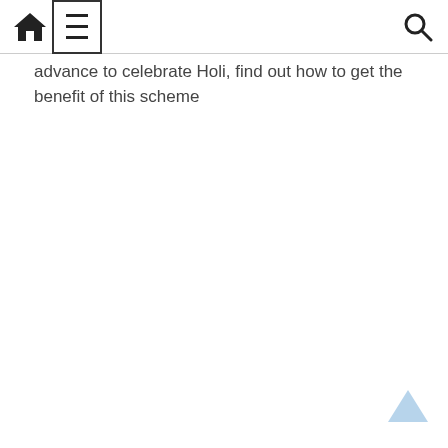[Navigation bar with home icon, menu icon, and search icon]
advance to celebrate Holi, find out how to get the benefit of this scheme